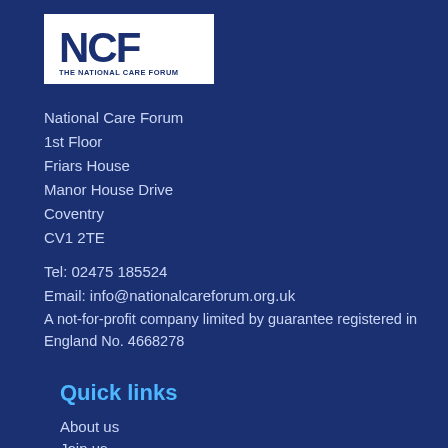[Figure (logo): NCF The National Care Forum logo — white box with dark blue NCF lettering and 'THE NATIONAL CARE FORUM' text below]
National Care Forum
1st Floor
Friars House
Manor House Drive
Coventry
CV1 2TE
Tel: 02475 185524
Email: info@nationalcareforum.org.uk
A not-for-profit company limited by guarantee registered in England No. 4668278
Quick links
About us
Join us